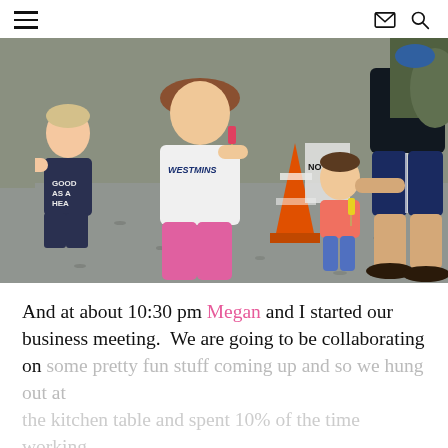≡  ✉ 🔍
[Figure (photo): Outdoor photo of children and an adult walking on a gravel driveway. Three children are eating popsicles; one girl wears a white Westminster t-shirt and pink pants, another small girl wears a pink shirt and blue pants, a third child on the left wears a dark navy shirt. An adult in a black t-shirt and dark navy shorts holds the small girl's hand. An orange traffic cone is visible in the background.]
And at about 10:30 pm Megan and I started our business meeting.  We are going to be collaborating on some pretty fun stuff coming up and so we hung out at the kitchen table and spent 10% of the time working